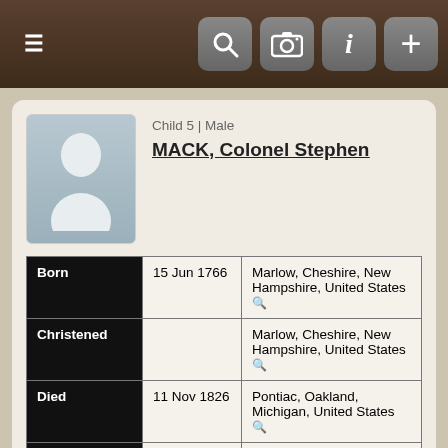Navigation bar with menu, search, camera, info, and add buttons
Child 5 | Male
MACK, Colonel Stephen
| Field | Date | Place |
| --- | --- | --- |
| Born | 15 Jun 1766 | Marlow, Cheshire, New Hampshire, United States |
| Christened |  | Marlow, Cheshire, New Hampshire, United States |
| Died | 11 Nov 1826 | Pontiac, Oakland, Michigan, United States |
| Buried | 13 Nov 1826 | Pontiac, Oakland, Michigan, United States |
| Spouse | BOND, Temperance | F10243 |  |
| Married | 1788 | Tunbridge, Orange, Vermont |
Child 6 | Male